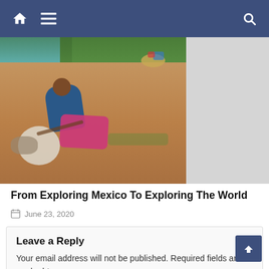Navigation bar with home, menu, and search icons
[Figure (photo): A person crouching on a reddish-brown riverbank, washing clothes. Blue-green water is visible in the background, along with vegetation. Colorful cloth items including pink fabric are spread on the ground. A basket is visible in the upper right of the scene.]
From Exploring Mexico To Exploring The World
June 23, 2020
Leave a Reply
Your email address will not be published. Required fields are marked *